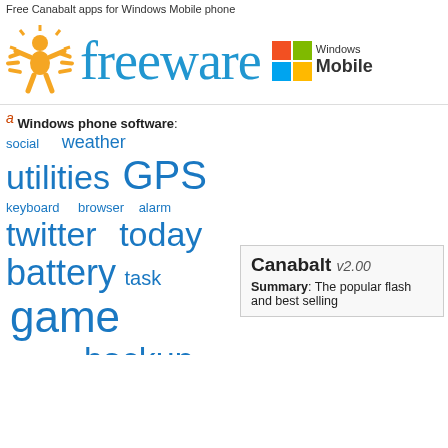Free Canabalt apps for Windows Mobile phone
[Figure (logo): Freeware site banner with sun/person logo, 'freeware' text in teal decorative font, and Windows Mobile logo]
a Windows phone software:
[Figure (infographic): Tag cloud with Windows phone software categories: social, weather, utilities, GPS, keyboard, browser, alarm, twitter, today, battery, task, game, bluetooth, backup, theme, sync, wireless, phone, video, money — displayed in varying font sizes in blue]
Freeware tags
action
adventure
accelerometer
arcade
Canabalt v2.00
Summary: The popular flash and best selling